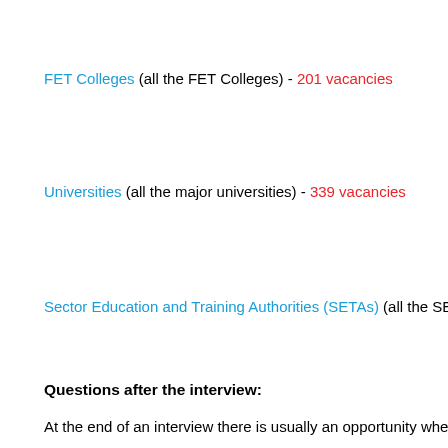FET Colleges (all the FET Colleges) - 201 vacancies
Universities (all the major universities) - 339 vacancies
Sector Education and Training Authorities (SETAs) (all the SETAs)
Questions after the interview:
At the end of an interview there is usually an opportunity where yo